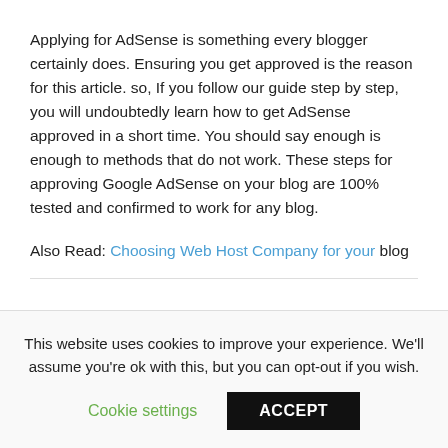Applying for AdSense is something every blogger certainly does. Ensuring you get approved is the reason for this article. so, If you follow our guide step by step, you will undoubtedly learn how to get AdSense approved in a short time. You should say enough is enough to methods that do not work. These steps for approving Google AdSense on your blog are 100% tested and confirmed to work for any blog.
Also Read: Choosing Web Host Company for your blog
This website uses cookies to improve your experience. We'll assume you're ok with this, but you can opt-out if you wish.
Cookie settings  ACCEPT